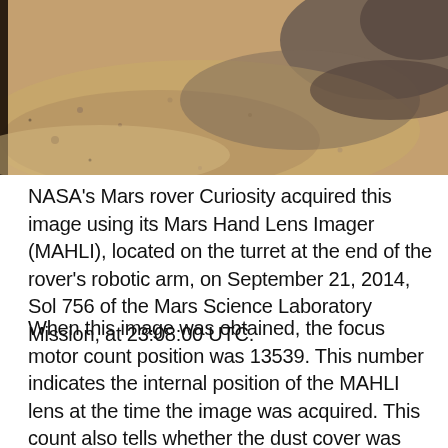[Figure (photo): Close-up photograph of Martian surface showing sandy/rocky terrain with reddish-brown and grey tones, taken by NASA's Curiosity rover MAHLI camera.]
NASA's Mars rover Curiosity acquired this image using its Mars Hand Lens Imager (MAHLI), located on the turret at the end of the rover's robotic arm, on September 21, 2014, Sol 756 of the Mars Science Laboratory Mission, at 23:08:00 UTC.
When this image was obtained, the focus motor count position was 13539. This number indicates the internal position of the MAHLI lens at the time the image was acquired. This count also tells whether the dust cover was open or closed. Values between 0 and 6000 mean the dust cover was closed; values between 12500 and 16000 occur when the cover is open. For close-up images, the motor count can in some cases be used to estimate the distance between the MAHLI lens and target. For example, in-focus images obtained with the dust cover open for which the lens